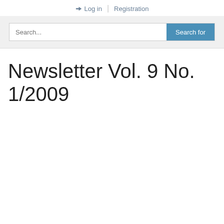Log in | Registration
[Figure (screenshot): Search bar with text input placeholder 'Search...' and a blue 'Search for' button]
Newsletter Vol. 9 No. 1/2009